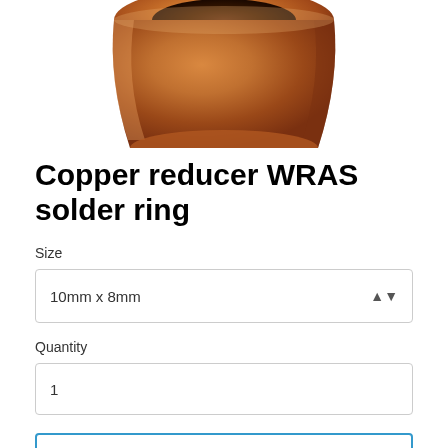[Figure (photo): Copper reducer WRAS solder ring fitting, showing the copper-coloured tubular reducer component from above, partially cropped at top of page]
Copper reducer WRAS solder ring
Size
10mm x 8mm
Quantity
1
ADD TO CART